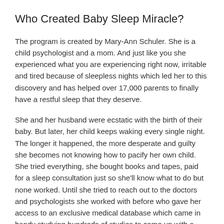Who Created Baby Sleep Miracle?
The program is created by Mary-Ann Schuler. She is a child psychologist and a mom. And just like you she experienced what you are experiencing right now, irritable and tired because of sleepless nights which led her to this discovery and has helped over 17,000 parents to finally have a restful sleep that they deserve.
She and her husband were ecstatic with the birth of their baby. But later, her child keeps waking every single night. The longer it happened, the more desperate and guilty she becomes not knowing how to pacify her own child. She tried everything, she bought books and tapes, paid for a sleep consultation just so she'll know what to do but none worked. Until she tried to reach out to the doctors and psychologists she worked with before who gave her access to an exclusive medical database which came in handy studying hundreds of studies to come up with a